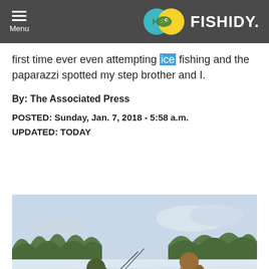Menu | FISHIDY
first time ever even attempting ice fishing and the paparazzi spotted my step brother and I.
By: The Associated Press
POSTED: Sunday, Jan. 7, 2018 - 5:58 a.m.
UPDATED: TODAY
[Figure (photo): Two people ice fishing on a frozen lake with trees in the background and snowy landscape. One person is bent over gear, the other is standing nearby.]